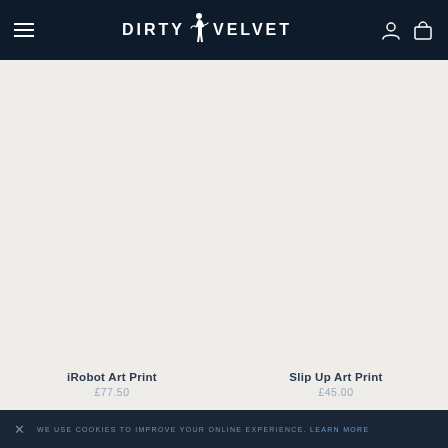DIRTY VELVET — navigation header
iRobot Art Print
£77.50
Slip Up Art Print
£45.00
WE USE COOKIES TO IMPROVE YOUR ONLINE EXPERIENCE. LEARN MORE